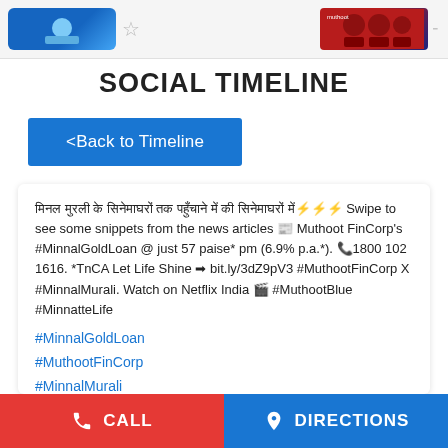[Figure (screenshot): Top banner with promotional images: a blue banner on the left (person/ad) with a star icon, and RCB cricket team image on the right]
SOCIAL TIMELINE
<Back to Timeline
मिनल मुरली के सहयोगियों द्वारा इस जबरदस्त फ़िल्म की सिनेमाघरों में⚡⚡⚡ Swipe to see some snippets from the news articles 📰 Muthoot FinCorp's #MinnalGoldLoan @ just 57 paise* pm (6.9% p.a.*). 📞1800 102 1616. *TnCA Let Life Shine ➡ bit.ly/3dZ9pV3 #MuthootFinCorp X #MinnalMurali. Watch on Netflix India 🎬 #MuthootBlue #MinnatteLife
#MinnalGoldLoan
#MuthootFinCorp
#MinnalMurali